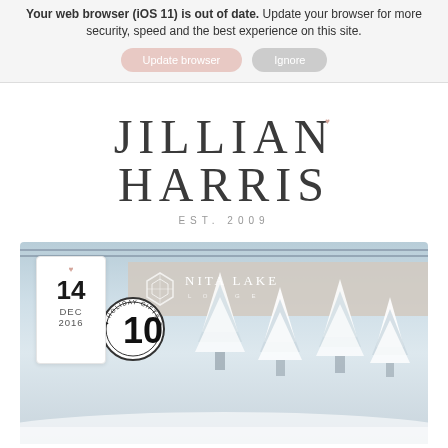Your web browser (iOS 11) is out of date. Update your browser for more security, speed and the best experience on this site.
Update browser  |  Ignore
JILLIAN HARRIS
EST. 2009
[Figure (photo): Card image with date tag showing 14 DEC 2016, a circular holiday stamp badge, number 10, Nita Lake Lodge banner with diamond logo, and snowy pine tree landscape background with decorative twine lines at top.]